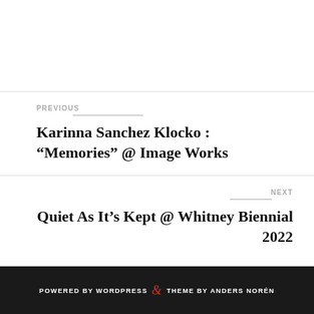PREVIOUS
Karinna Sanchez Klocko : “Memories” @ Image Works
NEXT
Quiet As It’s Kept @ Whitney Biennial 2022
POWERED BY WORDPRESS & THEME BY ANDERS NORÉN